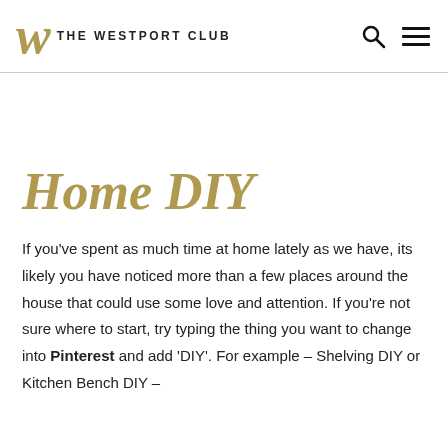W THE WESTPORT CLUB
Home DIY
If you've spent as much time at home lately as we have, its likely you have noticed more than a few places around the house that could use some love and attention. If you're not sure where to start, try typing the thing you want to change into Pinterest and add 'DIY'. For example – Shelving DIY or Kitchen Bench DIY –